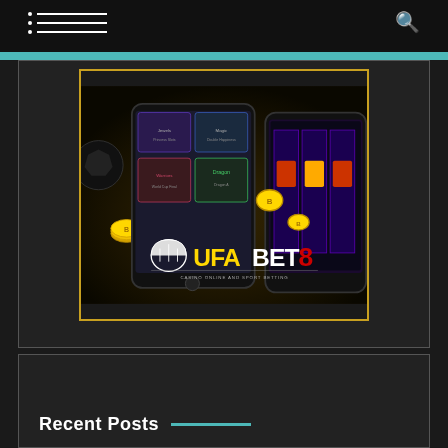Navigation bar with hamburger menu and search icon
[Figure (screenshot): UFABET8 Casino Online and Sport Betting promotional banner showing smartphones with casino games, gold coins, and the UFABET8 logo with text 'CASINO ONLINE AND SPORT BETTING']
Recent Posts